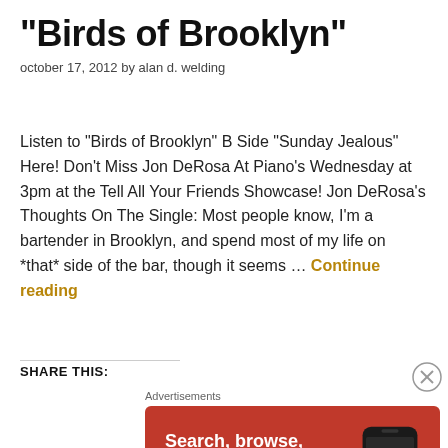"Birds of Brooklyn"
october 17, 2012 by alan d. welding
Listen to "Birds of Brooklyn" B Side "Sunday Jealous" Here! Don't Miss Jon DeRosa At Piano's Wednesday at 3pm at the Tell All Your Friends Showcase! Jon DeRosa's Thoughts On The Single: Most people know, I'm a bartender in Brooklyn, and spend most of my life on *that* side of the bar, though it seems … Continue reading
SHARE THIS:
[Figure (screenshot): DuckDuckGo advertisement banner: orange/red background, text 'Search, browse, and email with more privacy. All in One Free App' with DuckDuckGo logo and phone image]